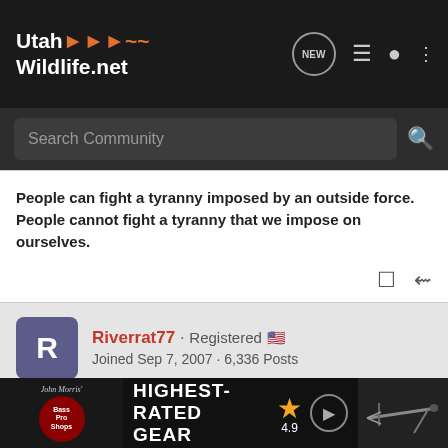UtahWildlife.net
Search Community
People can fight a tyranny imposed by an outside force. People cannot fight a tyranny that we impose on ourselves.
Riverrat77 · Registered 🇺🇸
Joined Sep 7, 2007 · 6,336 Posts
#10 · Dec 6, 2007
Treehugnhuntr said:
I didn't even read all of those words above. All I can say is; NO YOU DIDN"T!
+2... Hi
[Figure (other): Bass Pro Shops advertisement banner: HIGHEST-RATED GEAR, star rating 4.9, with crossbow image and play button]